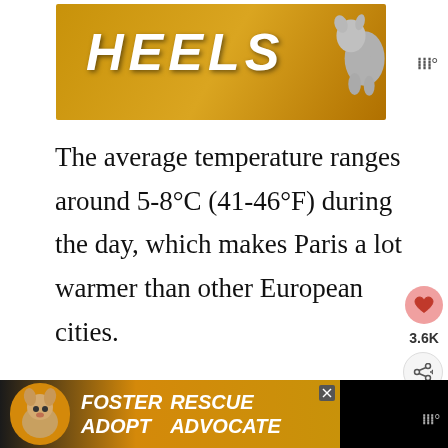[Figure (photo): Advertisement banner with gold/yellow background showing the word HEELS in large white bold italic text with a dog silhouette on the right side]
The average temperature ranges around 5-8°C (41-46°F) during the day, which makes Paris a lot warmer than other European cities.
Although Paris is really gorgeous when the whole city is covered with white snow, unfortunately, snow is not so common in winter but you can expect some rainfalls in exchange. If you are planning to visit Paris i...
[Figure (photo): Advertisement banner at bottom with black background showing FOSTER ADOPT and RESCUE ADVOCATE text with a dog photo in center on gold background]